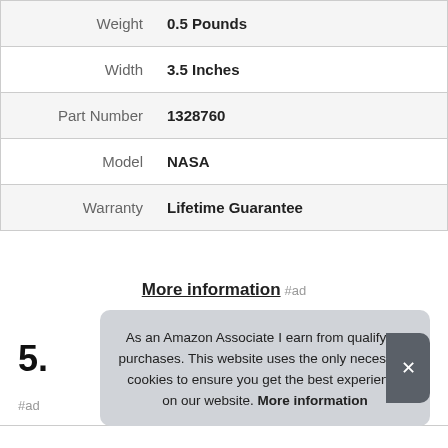|  |  |
| --- | --- |
| Weight | 0.5 Pounds |
| Width | 3.5 Inches |
| Part Number | 1328760 |
| Model | NASA |
| Warranty | Lifetime Guarantee |
More information #ad
5.
#ad
As an Amazon Associate I earn from qualifying purchases. This website uses the only necessary cookies to ensure you get the best experience on our website. More information